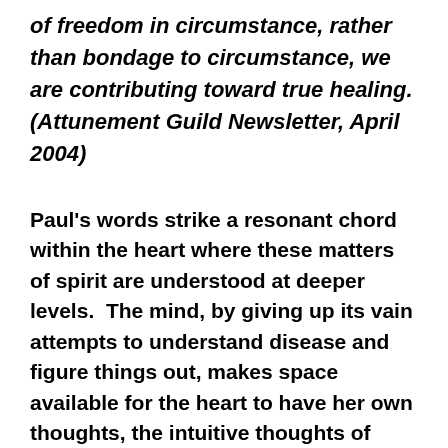of freedom in circumstance, rather than bondage to circumstance, we are contributing toward true healing. (Attunement Guild Newsletter, April 2004)
Paul's words strike a resonant chord within the heart where these matters of spirit are understood at deeper levels.  The mind, by giving up its vain attempts to understand disease and figure things out, makes space available for the heart to have her own thoughts, the intuitive thoughts of spirit, to speak her truth and to articulate finer essences—along with encompassing the person while focusing the healing currents of love and compassion.  By honoring the feminine in healthcare, we take on the authentic role of a healer more fully.